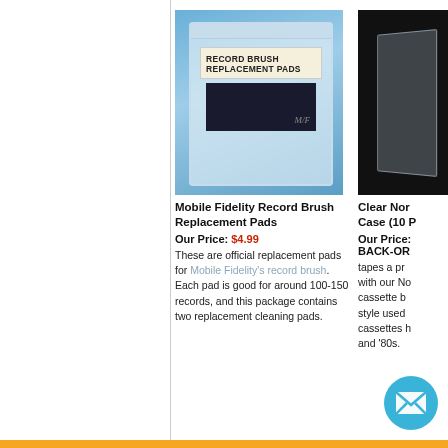[Figure (photo): Mobile Fidelity Record Brush Replacement Pads product photo - clear plastic bag with label on blue background]
[Figure (photo): Clear Nordic cassette case product photo - partially visible on black background]
Mobile Fidelity Record Brush Replacement Pads
Our Price: $4.99
These are official replacement pads for Mobile Fidelity's record brush. Each pad is good for around 100-150 records, and this package contains two replacement cleaning pads.
Clear Nor...
Case (10 P...
Our Price:...
BACK-OR...
tapes a pr...
with our No...
cassette b...
style used...
cassettes h...
and '80s.